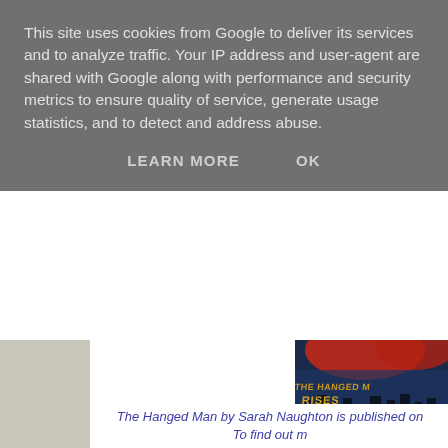This site uses cookies from Google to deliver its services and to analyze traffic. Your IP address and user-agent are shared with Google along with performance and security metrics to ensure quality of service, generate usage statistics, and to detect and address abuse.
LEARN MORE    OK
[Figure (photo): Book cover of 'The Hanged Man Rises' by Sarah Naughton — dark dramatic cover with red and blue sky, city silhouette, with title text in gold/orange letters]
The Hanged Man by Sarah Naughton is published on To find out m